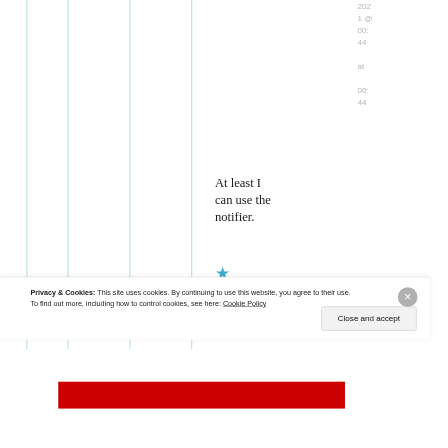2021 @ 00:44 at 00:44
At least I can use the notifier.
[Figure (other): Blue star symbol]
Privacy & Cookies: This site uses cookies. By continuing to use this website, you agree to their use. To find out more, including how to control cookies, see here: Cookie Policy
Close and accept